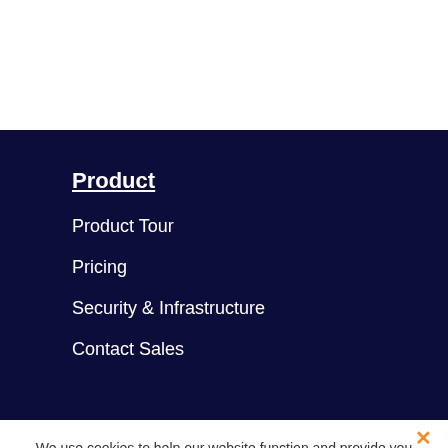Product
Product Tour
Pricing
Security & Infrastructure
Contact Sales
We use cookies to help our website function and provide you with the best experience possible
Consent to Cookies
Cookie Policy